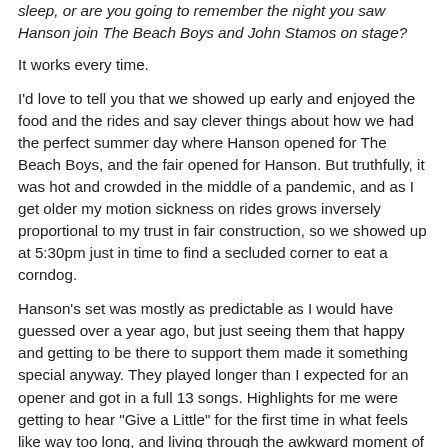sleep, or are you going to remember the night you saw Hanson join The Beach Boys and John Stamos on stage?
It works every time.
I'd love to tell you that we showed up early and enjoyed the food and the rides and say clever things about how we had the perfect summer day where Hanson opened for The Beach Boys, and the fair opened for Hanson. But truthfully, it was hot and crowded in the middle of a pandemic, and as I get older my motion sickness on rides grows inversely proportional to my trust in fair construction, so we showed up at 5:30pm just in time to find a secluded corner to eat a corndog.
Hanson's set was mostly as predictable as I would have guessed over a year ago, but just seeing them that happy and getting to be there to support them made it something special anyway. They played longer than I expected for an opener and got in a full 13 songs. Highlights for me were getting to hear "Give a Little" for the first time in what feels like way too long, and living through the awkward moment of